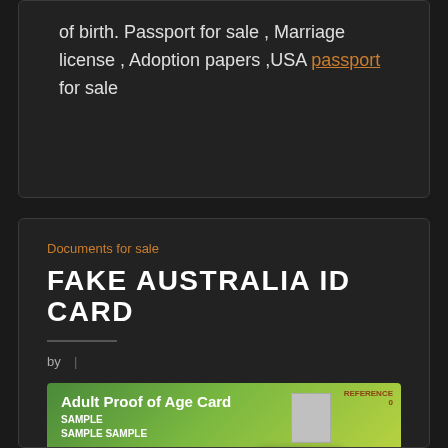of birth. Passport for sale , Marriage license , Adoption papers ,USA passport for sale
Documents for sale
FAKE AUSTRALIA ID CARD
by  |
[Figure (photo): Simulated Australian Adult Proof of Age Card sample showing green card with text: Adult Proof of Age Card, SAMPLE, SAMPLE SAMPLE, DOB: 18 Aug 1972 Sex M, with a chip and photo placeholder. A Contact us chat bubble and purple chat icon overlay the bottom-right corner.]